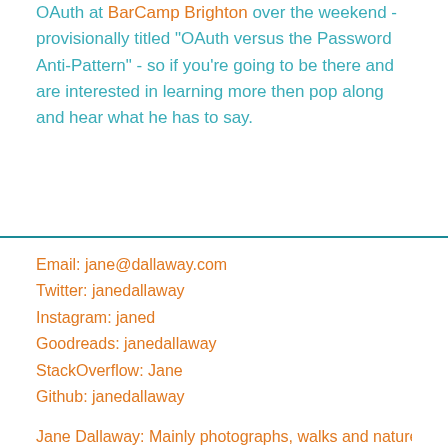OAuth at BarCamp Brighton over the weekend - provisionally titled "OAuth versus the Password Anti-Pattern" - so if you're going to be there and are interested in learning more then pop along and hear what he has to say.
Email: jane@dallaway.com
Twitter: janedallaway
Instagram: janed
Goodreads: janedallaway
StackOverflow: Jane
Github: janedallaway
Jane Dallaway: Mainly photographs, walks and nature